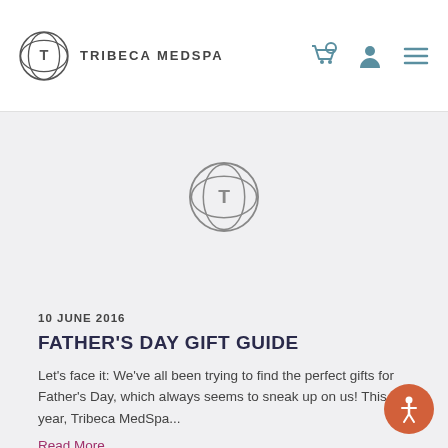TRIBECA MEDSPA
[Figure (logo): Tribeca MedSpa centered logo mark — circular geometric emblem with T and M letterforms inside overlapping circles, dark gray color]
10 JUNE 2016
FATHER'S DAY GIFT GUIDE
Let's face it: We've all been trying to find the perfect gifts for Father's Day, which always seems to sneak up on us! This year, Tribeca MedSpa...
Read More